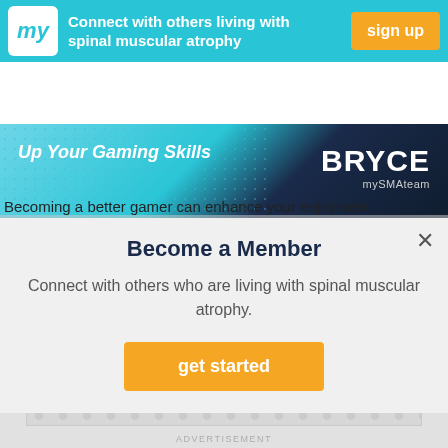[Figure (screenshot): mySMAteam top banner with cyan background, 'my' logo, 'Connect with others living with spinal muscular atrophy' text, and orange 'sign up' button]
[Figure (screenshot): Gaming banner showing 'Up Your Gaming Skills' text on cyan/dark blue background with BRYCE mySMAteam branding and orange bar at bottom]
Becoming a better gamer can enhance your enjoyment
[Figure (screenshot): Modal popup with 'Become a Member' title, 'Connect with others who are living with spinal muscular atrophy.' body text, and orange 'get started' button. Gray background with X close button.]
[Figure (screenshot): Bottom section showing partial MV logo banner (cyan and dark sections) and advertisement box with dot pattern]
ADVERTISEMENT